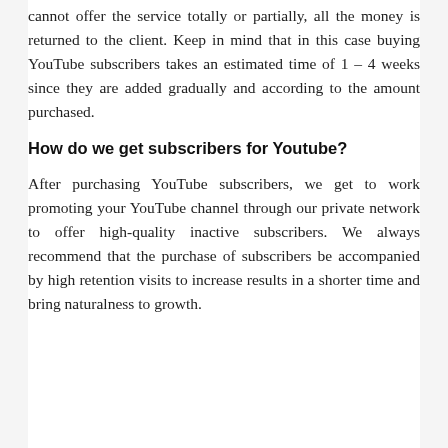cannot offer the service totally or partially, all the money is returned to the client. Keep in mind that in this case buying YouTube subscribers takes an estimated time of 1 – 4 weeks since they are added gradually and according to the amount purchased.
How do we get subscribers for Youtube?
After purchasing YouTube subscribers, we get to work promoting your YouTube channel through our private network to offer high-quality inactive subscribers. We always recommend that the purchase of subscribers be accompanied by high retention visits to increase results in a shorter time and bring naturalness to growth.